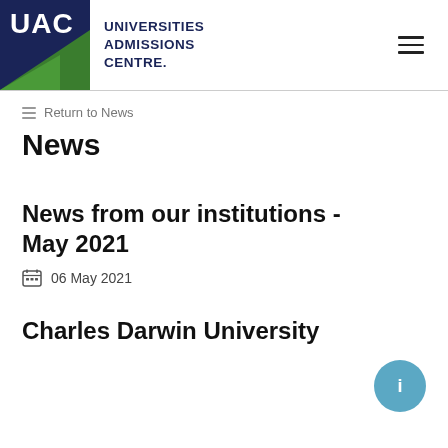[Figure (logo): UAC Universities Admissions Centre logo with dark blue square, green diagonal stripe, and UAC text, alongside 'UNIVERSITIES ADMISSIONS CENTRE.' text]
Return to News
News
News from our institutions - May 2021
06 May 2021
Charles Darwin University